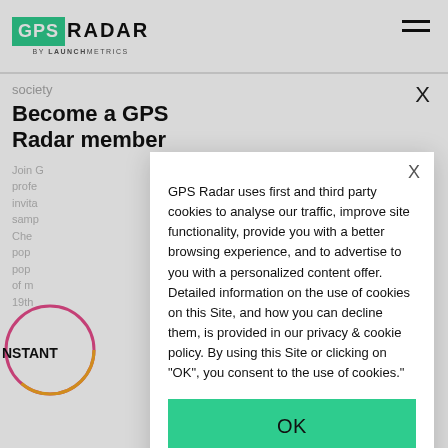GPS RADAR by LAUNCHMETRICS
society
Become a GPS Radar member
Join G... profe... invita... samp...
Che... pop... pop... of m... 19th...
GPS Radar uses first and third party cookies to analyse our traffic, improve site functionality, provide you with a better browsing experience, and to advertise to you with a personalized content offer. Detailed information on the use of cookies on this Site, and how you can decline them, is provided in our privacy & cookie policy. By using this Site or clicking on "OK", you consent to the use of cookies."
OK
Privacy Policy >
Cookies Preferences >